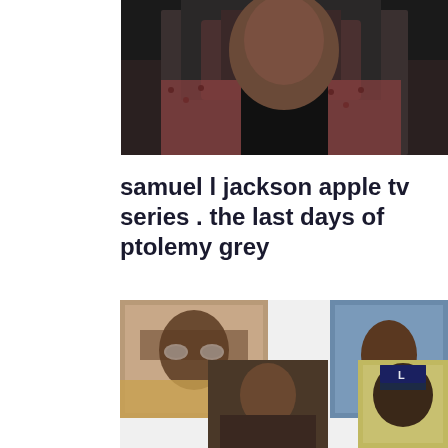[Figure (photo): Top photo of Samuel L. Jackson, partial view showing shoulders and face, wearing a patterned jacket over black shirt, dark background]
samuel l jackson apple tv series . the last days of ptolemy grey
American actor
[Figure (photo): Grid of four photos showing younger Black men and actors, including vintage photo with sunglasses, portrait of young man in leather jacket, and other character photos]